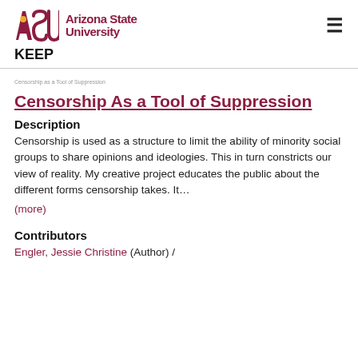ASU Arizona State University | KEEP
Censorship As a Tool of Suppression
Description
Censorship is used as a structure to limit the ability of minority social groups to share opinions and ideologies. This in turn constricts our view of reality. My creative project educates the public about the different forms censorship takes. It…
(more)
Contributors
Engler, Jessie Christine (Author) /